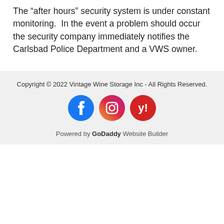The “after hours” security system is under constant monitoring.  In the event a problem should occur the security company immediately notifies the Carlsbad Police Department and a VWS owner.
Copyright © 2022 Vintage Wine Storage Inc - All Rights Reserved.
[Figure (other): Three social media icon buttons: Facebook (blue circle with white f), Instagram (pink/red gradient circle with white camera icon), Yelp (red circle with white burst/star icon)]
Powered by GoDaddy Website Builder